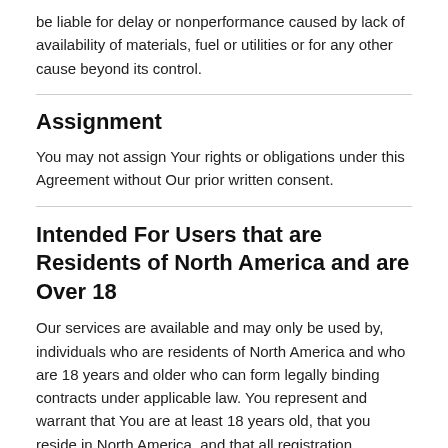be liable for delay or nonperformance caused by lack of availability of materials, fuel or utilities or for any other cause beyond its control.
Assignment
You may not assign Your rights or obligations under this Agreement without Our prior written consent.
Intended For Users that are Residents of North America and are Over 18
Our services are available and may only be used by, individuals who are residents of North America and who are 18 years and older who can form legally binding contracts under applicable law. You represent and warrant that You are at least 18 years old, that you reside in North America, and that all registration information You submit is accurate and truthful. You agree to comply with all local laws regarding online conduct and acceptable content.